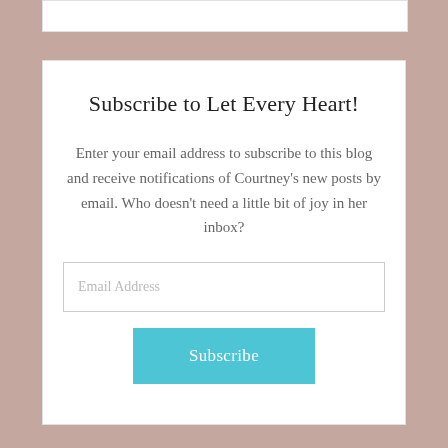Subscribe to Let Every Heart!
Enter your email address to subscribe to this blog and receive notifications of Courtney's new posts by email. Who doesn't need a little bit of joy in her inbox?
Email Address
Subscribe